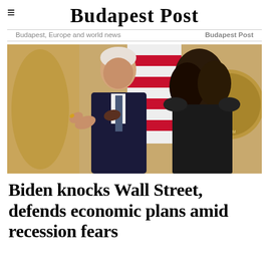Budapest Post
Budapest, Europe and world news | Budapest Post
[Figure (photo): Two people greeting each other in front of an American flag and a decorative gold Presidential seal. An older man with white hair wearing a dark suit and patterned tie faces a younger woman with dark curly hair who has her back to the camera and is wearing a dark blazer.]
Biden knocks Wall Street, defends economic plans amid recession fears